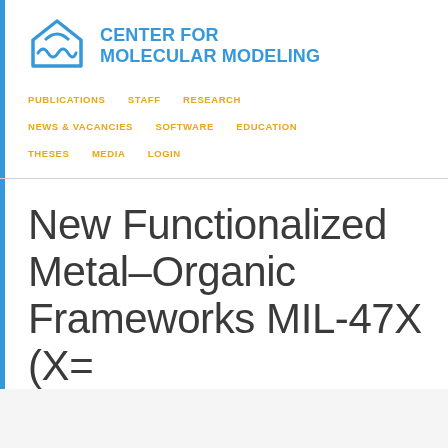[Figure (logo): Center for Molecular Modeling logo - a house/arch shape with wave pattern inside, in blue, followed by text CENTER FOR MOLECULAR MODELING in bold blue]
PUBLICATIONS   STAFF   RESEARCH   NEWS & VACANCIES   SOFTWARE   EDUCATION   THESES   MEDIA   LOGIN
New Functionalized Metal–Organic Frameworks MIL-47X (X= ...